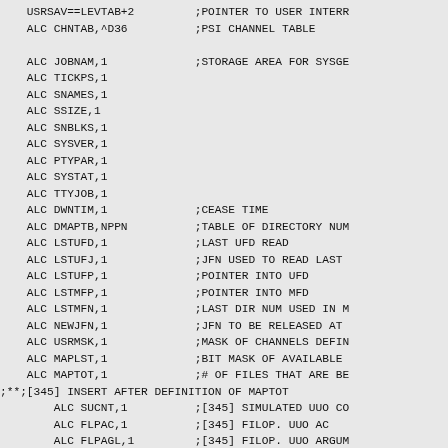USRSAV==LEVTAB+2         ;POINTER TO USER INTERR
    ALC CHNTAB,^D36          ;PSI CHANNEL TABLE

    ALC JOBNAM,1             ;STORAGE AREA FOR SYSGE
    ALC TICKPS,1
    ALC SNAMES,1
    ALC SSIZE,1
    ALC SNBLKS,1
    ALC SYSVER,1
    ALC PTYPAR,1
    ALC SYSTAT,1
    ALC TTYJOB,1
    ALC DWNTIM,1             ;CEASE TIME
    ALC DMAPTB,NPPN          ;TABLE OF DIRECTORY NUM
    ALC LSTUFD,1             ;LAST UFD READ
    ALC LSTUFJ,1             ;JFN USED TO READ LAST
    ALC LSTUFP,1             ;POINTER INTO UFD
    ALC LSTMFP,1             ;POINTER INTO MFD
    ALC LSTMFN,1             ;LAST DIR NUM USED IN M
    ALC NEWJFN,1             ;JFN TO BE RELEASED AT
    ALC USRMSK,1             ;MASK OF CHANNELS DEFIN
    ALC MAPLST,1             ;BIT MASK OF AVAILABLE
    ALC MAPTOT,1             ;# OF FILES THAT ARE BE
;**;[345] INSERT AFTER DEFINITION OF MAPTOT
        ALC SUCNT,1          ;[345] SIMULATED UUO CO
        ALC FLPAC,1          ;[345] FILOP. UUO AC
        ALC FLPAGL,1         ;[345] FILOP. UUO ARGUM
        ALC FLPARG,1         ;[345] FILOP. UUO ARGUM
        ALC FOPAD, 1         ;[356] Address for the
        ALC FOPFLG,1         ;[356] FILOP. flags
        ALC FLPAC FIFAC      ;[356] ...